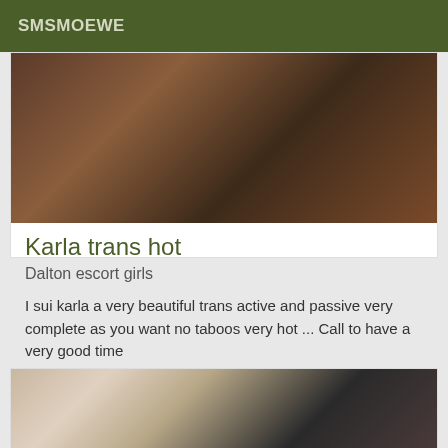SMSMOEWE
[Figure (photo): Photo of a person in black lingerie and stockings near wooden furniture]
Karla trans hot
Dalton escort girls
I sui karla a very beautiful trans active and passive very complete as you want no taboos very hot ... Call to have a very good time
[Figure (photo): Photo showing two people, partial view]